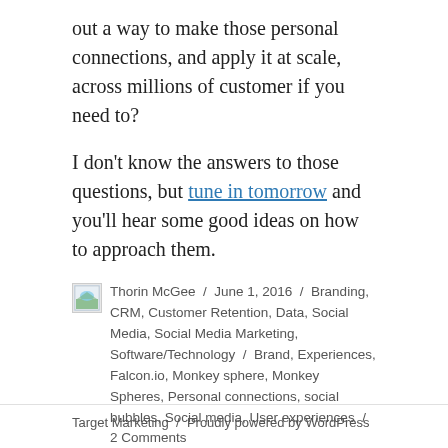out a way to make those personal connections, and apply it at scale, across millions of customer if you need to?
I don't know the answers to those questions, but tune in tomorrow and you'll hear some good ideas on how to approach them.
Thorin McGee / June 1, 2016 / Branding, CRM, Customer Retention, Data, Social Media, Social Media Marketing, Software/Technology / Brand, Experiences, Falcon.io, Monkey sphere, Monkey Spheres, Personal connections, social bubbles, Social media, User experiences / 2 Comments
Target Marketing / Proudly powered by WordPress